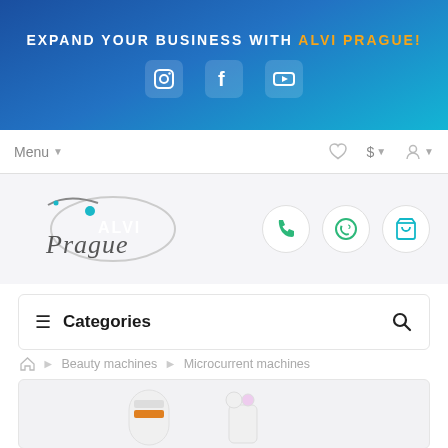EXPAND YOUR BUSINESS WITH ALVI PRAGUE!
[Figure (screenshot): Social media icons: Instagram, Facebook, YouTube in rounded square containers on blue gradient banner]
Menu
[Figure (logo): Alvi Prague logo - cursive script with colored dot accents]
[Figure (infographic): Three circular action buttons: phone (green), WhatsApp (green), shopping cart (teal)]
Categories
Beauty machines > Microcurrent machines
[Figure (photo): Partial view of microcurrent beauty machine products at bottom of page]